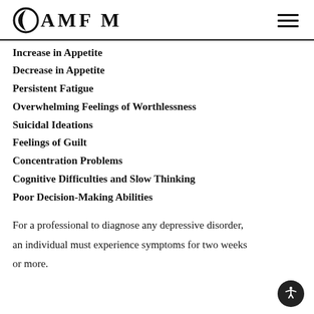OAMFM
Increase in Appetite
Decrease in Appetite
Persistent Fatigue
Overwhelming Feelings of Worthlessness
Suicidal Ideations
Feelings of Guilt
Concentration Problems
Cognitive Difficulties and Slow Thinking
Poor Decision-Making Abilities
For a professional to diagnose any depressive disorder, an individual must experience symptoms for two weeks or more.